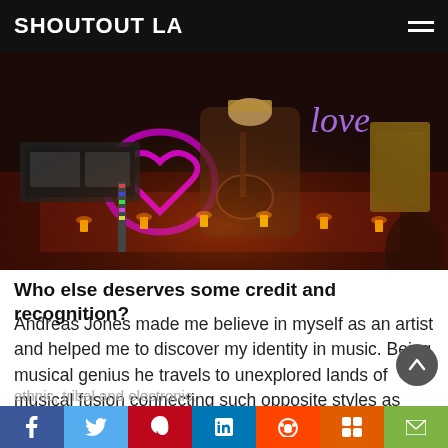SHOUTOUT LA
[Figure (photo): A musician playing acoustic guitar in a dimly lit room with neon 'love' sign and neon pink heart, surrounded by candles on the floor]
Who else deserves some credit and recognition?
Andreas Jones made me believe in myself as an artist and helped me to discover my identity in music. Being musical genius he travels to unexplored lands of musical fusion connecting such opposite styles as mantras and techno,
ethnic, tribal and electronic.